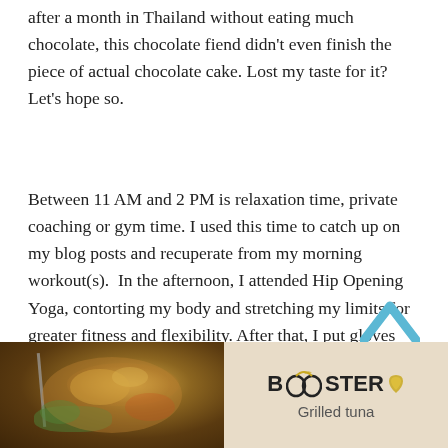after a month in Thailand without eating much chocolate, this chocolate fiend didn't even finish the piece of actual chocolate cake. Lost my taste for it? Let's hope so.
Between 11 AM and 2 PM is relaxation time, private coaching or gym time. I used this time to catch up on my blog posts and recuperate from my morning workout(s).  In the afternoon, I attended Hip Opening Yoga, contorting my body and stretching my limits for greater fitness and flexibility. After that, I put gloves and shin guards on and mixed it up with the Muay Thai Boxing coach—first time, fun time. Next, I enjoyed a peaceful, tropical sunset swim in the 50 meter pool. I dined at Booster Deli & Bar, relishing a beautifully composed grilled tuna salad.
[Figure (photo): Photo of a grilled tuna salad in a white bowl with fork]
[Figure (photo): Booster Deli sign showing logo and text 'Grilled tuna']